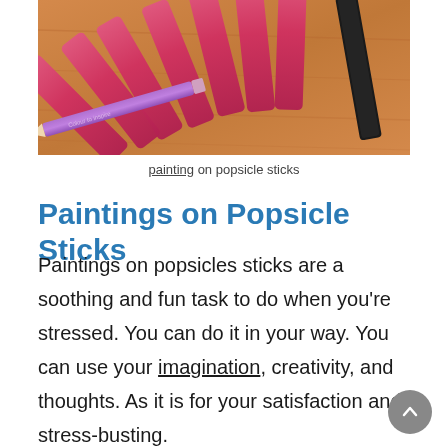[Figure (photo): Photo of pink-painted popsicle sticks fanned out on a wooden surface, with a purple/violet colored pencil and a black nail file]
painting on popsicle sticks
Paintings on Popsicle Sticks
Paintings on popsicles sticks are a soothing and fun task to do when you’re stressed. You can do it in your way. You can use your imagination, creativity, and thoughts. As it is for your satisfaction and stress-busting.